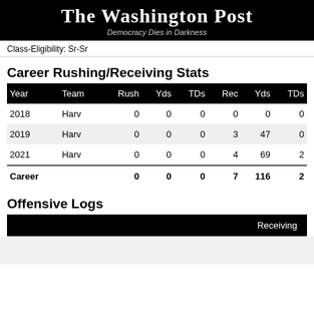The Washington Post — Democracy Dies in Darkness
Class-Eligibility: Sr-Sr
Career Rushing/Receiving Stats
| Year | Team | Rush | Yds | TDs | Rec | Yds | TDs |
| --- | --- | --- | --- | --- | --- | --- | --- |
| 2018 | Harv | 0 | 0 | 0 | 0 | 0 | 0 |
| 2019 | Harv | 0 | 0 | 0 | 3 | 47 | 0 |
| 2021 | Harv | 0 | 0 | 0 | 4 | 69 | 2 |
Offensive Logs
|  |  |  |  | Receiving |
| --- | --- | --- | --- | --- |